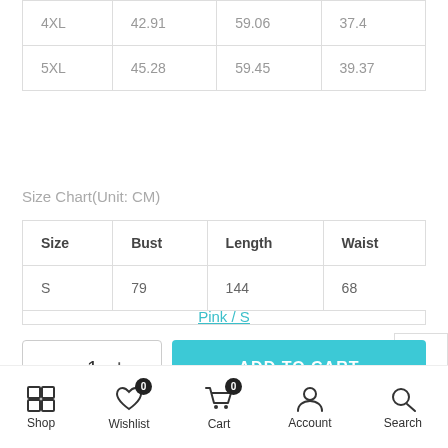| 4XL | 42.91 | 59.06 | 37.4 |
| 5XL | 45.28 | 59.45 | 39.37 |
Size Chart(Unit: CM)
| Size | Bust | Length | Waist |
| --- | --- | --- | --- |
| S | 79 | 144 | 68 |
Pink / S
- 1 +  ADD TO CART
Shop  Wishlist 0  Cart 0  Account  Search